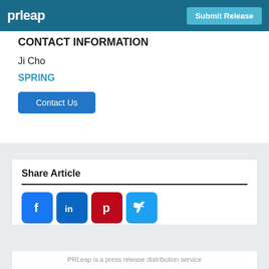prleap | Submit Release
CONTACT INFORMATION
Ji Cho
SPRING
Contact Us
Share Article
[Figure (infographic): Social share icons: Facebook, LinkedIn, Pinterest, Twitter]
PRLeap is a press release distribution service